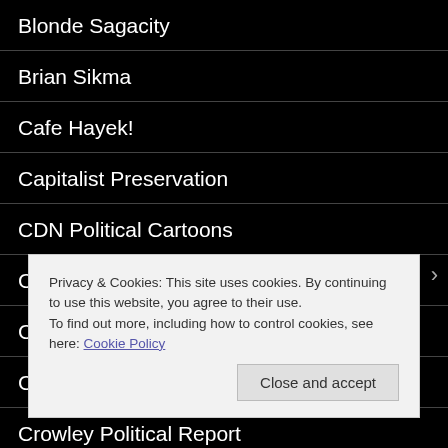Blonde Sagacity
Brian Sikma
Cafe Hayek!
Capitalist Preservation
CDN Political Cartoons
Center for Media and Public Affairs GMU
Cinnamon Stillwell
Conservative HQ
Crowley Political Report
Privacy & Cookies: This site uses cookies. By continuing to use this website, you agree to their use.
To find out more, including how to control cookies, see here: Cookie Policy
Close and accept